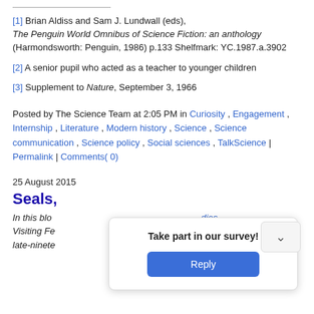[1] Brian Aldiss and Sam J. Lundwall (eds), The Penguin World Omnibus of Science Fiction: an anthology (Harmondsworth: Penguin, 1986) p.133 Shelfmark: YC.1987.a.3902
[2] A senior pupil who acted as a teacher to younger children
[3] Supplement to Nature, September 3, 1966
Posted by The Science Team at 2:05 PM in Curiosity , Engagement , Internship , Literature , Modern history , Science , Science communication , Science policy , Social sciences , TalkScience | Permalink | Comments( 0)
25 August 2015
Seals,
In this blo... dies Visiting Fe... istry in late-ninete...
[Figure (other): Modal dialog overlay with text 'Take part in our survey!' and a blue Reply button, plus a chevron/collapse button in upper right]